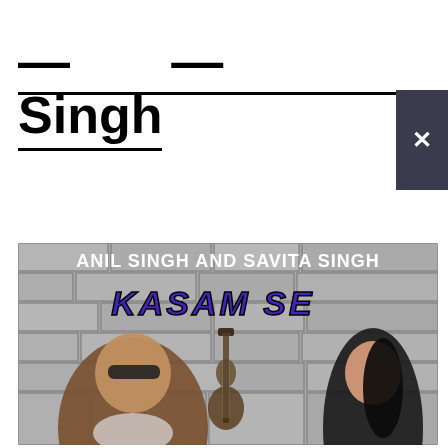Singh
[Figure (photo): Music cover art for 'Kasam Se' by Anil Singh and Savita Singh. Shows two people (a man with sunglasses on the left, a woman in black on the right) against a stone brick wall background, with a guitar in the center. Text overlay reads 'ANIL SINGH AND SAVITA SINGH' and 'KASAM SE'.]